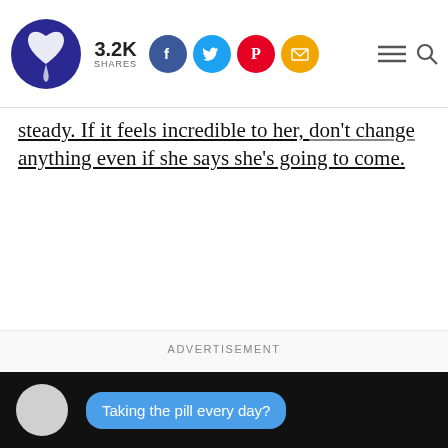3.2K SHARES [social icons: Facebook, Twitter, Pinterest, Email] [hamburger menu] [search]
steady. If it feels incredible to her, don't change anything even if she says she's going to come.
ADVERTISEMENT
[Figure (screenshot): Video thumbnail showing a dark background with a circular avatar placeholder and a blue speech bubble saying 'Taking the pill every day?']